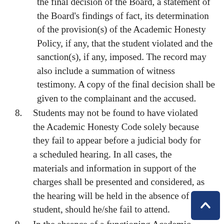the final decision of the Board, a statement of the Board's findings of fact, its determination of the provision(s) of the Academic Honesty Policy, if any, that the student violated and the sanction(s), if any, imposed. The record may also include a summation of witness testimony. A copy of the final decision shall be given to the complainant and the accused.
8. Students may not be found to have violated the Academic Honesty Code solely because they fail to appear before a judicial body for a scheduled hearing. In all cases, the materials and information in support of the charges shall be presented and considered, as the hearing will be held in the absence of the student, should he/she fail to attend.
9. In the absence of a functioning Academic Judicial Board or Academic Board of Appeals, such as during exams or during the summer and semester breaks, disciplinary hearings (under this Section and the following Section 4) will be the